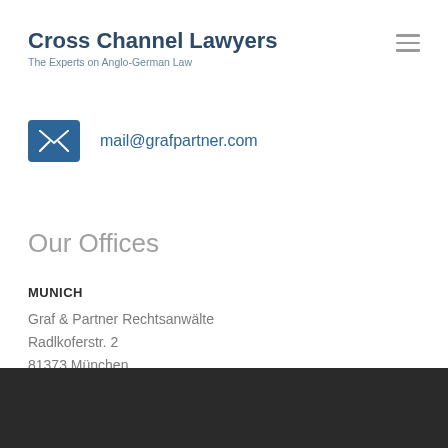Cross Channel Lawyers
The Experts on Anglo-German Law
mail@grafpartner.com
Our Offices
MUNICH
Graf & Partner Rechtsanwälte
Radlkoferstr. 2
81373 München
REGENSBURG
Graf & Partner Rechts...
Bischof-von-Henle-Str. 2a
Privacy Preferences
I Agree